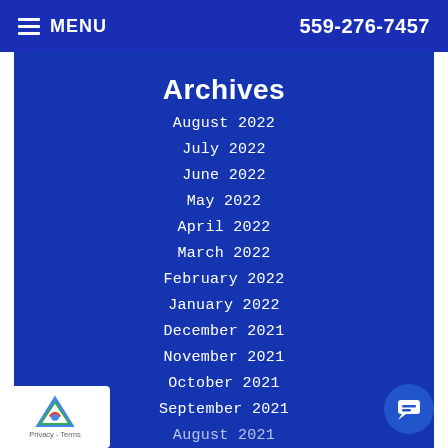MENU   559-276-7457
Archives
August 2022
July 2022
June 2022
May 2022
April 2022
March 2022
February 2022
January 2022
December 2021
November 2021
October 2021
September 2021
August 2021
Privacy - Terms